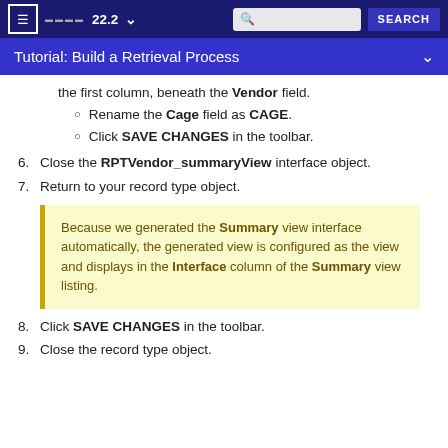Tutorial: Build a Retrieval Process  22.2
the first column, beneath the Vendor field.
Rename the Cage field as CAGE.
Click SAVE CHANGES in the toolbar.
6. Close the RPTVendor_summaryView interface object.
7. Return to your record type object.
Because we generated the Summary view interface automatically, the generated view is configured as the view and displays in the Interface column of the Summary view listing.
8. Click SAVE CHANGES in the toolbar.
9. Close the record type object.